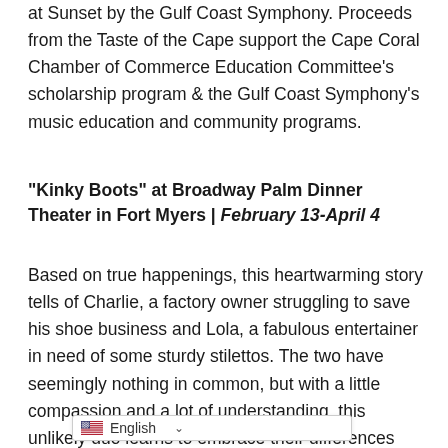at Sunset by the Gulf Coast Symphony. Proceeds from the Taste of the Cape support the Cape Coral Chamber of Commerce Education Committee's scholarship program & the Gulf Coast Symphony's music education and community programs.
"Kinky Boots" at Broadway Palm Dinner Theater in Fort Myers | February 13-April 4
Based on true happenings, this heartwarming story tells of Charlie, a factory owner struggling to save his shoe business and Lola, a fabulous entertainer in need of some sturdy stilettos. The two have seemingly nothing in common, but with a little compassion and a lot of understanding, this unlikely duo learns to embrace their differences and find they have more in common than they think! Featuring original son… per, this high-energy, full-hearted